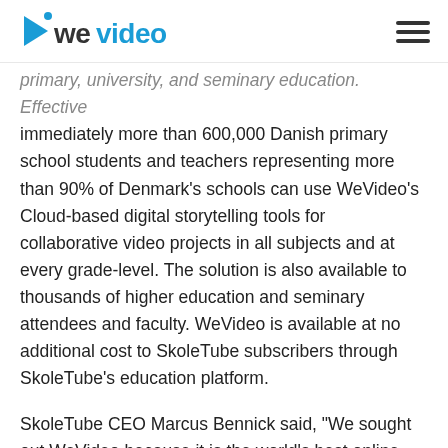WeVideo logo and navigation
primary, university, and seminary education. Effective immediately more than 600,000 Danish primary school students and teachers representing more than 90% of Denmark's schools can use WeVideo's Cloud-based digital storytelling tools for collaborative video projects in all subjects and at every grade-level. The solution is also available to thousands of higher education and seminary attendees and faculty. WeVideo is available at no additional cost to SkoleTube subscribers through SkoleTube's education platform.
SkoleTube CEO Marcus Bennick said, "We sought out WeVideo because it is the world's best online digital storytelling platform and a perfect fit for SkoleTube. WeVideo not only brings an incredible feature set for